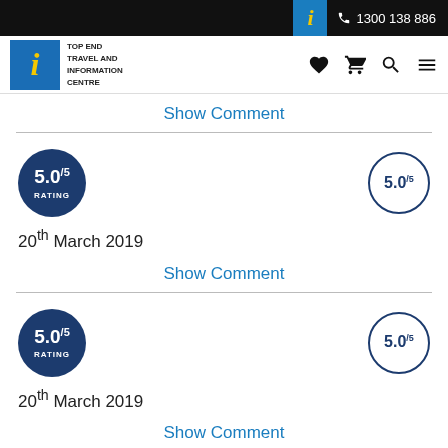1300 138 886
[Figure (logo): Top End Travel and Information Centre logo with stylized yellow 'i' on blue background]
Show Comment
[Figure (infographic): Rating circle filled dark blue: 5.0/5 RATING]
[Figure (infographic): Rating circle outline: 5.0/5]
20th March 2019
Show Comment
[Figure (infographic): Rating circle filled dark blue: 5.0/5 RATING]
[Figure (infographic): Rating circle outline: 5.0/5]
20th March 2019
Show Comment